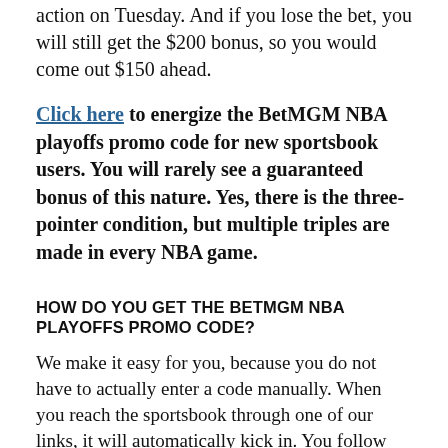action on Tuesday. And if you lose the bet, you will still get the $200 bonus, so you would come out $150 ahead.
Click here to energize the BetMGM NBA playoffs promo code for new sportsbook users. You will rarely see a guaranteed bonus of this nature. Yes, there is the three-pointer condition, but multiple triples are made in every NBA game.
HOW DO YOU GET THE BETMGM NBA PLAYOFFS PROMO CODE?
We make it easy for you, because you do not have to actually enter a code manually. When you reach the sportsbook through one of our links, it will automatically kick in. You follow the instructions to